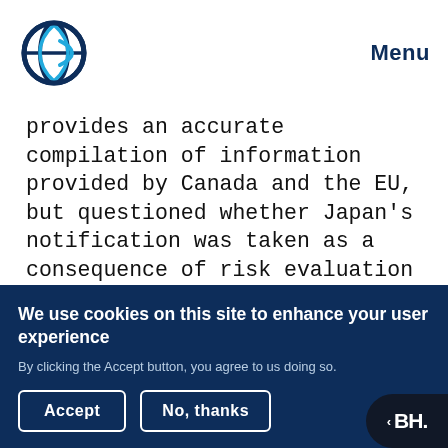Menu
provides an accurate compilation of information provided by Canada and the EU, but questioned whether Japan's notification was taken as a consequence of risk evaluation and, supported by CropLife International, suggested it be removed from the DGD. Delegates agreed to discuss this issue in a drafting group and reconsider PFOS in plenary on Wednesday.
We use cookies on this site to enhance your user experience
By clicking the Accept button, you agree to us doing so.